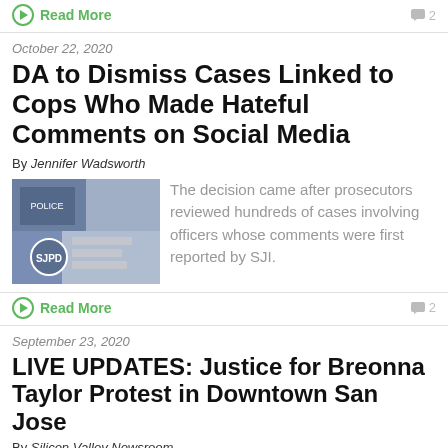Read More    2
October 22, 2020
DA to Dismiss Cases Linked to Cops Who Made Hateful Comments on Social Media
By Jennifer Wadsworth
[Figure (photo): Collage of police-related documents and images]
The decision came after prosecutors reviewed hundreds of cases involving officers whose comments were first reported by SJI.
Read More    2
September 23, 2020
LIVE UPDATES: Justice for Breonna Taylor Protest in Downtown San Jose
By Silicon Valley Newsroom
[Figure (photo): Official or officer photo related to Breonna Taylor protest coverage]
Not a single officer was charged with killing her. Hundreds immediately flooded...